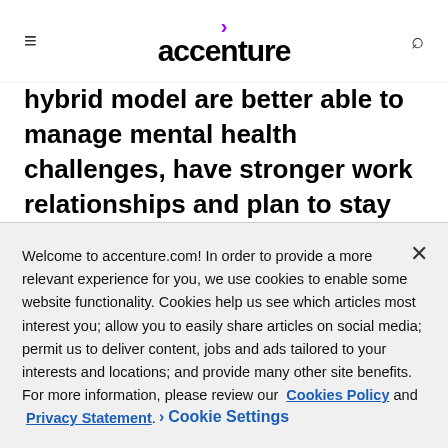accenture
hybrid model are better able to manage mental health challenges, have stronger work relationships and plan to stay with their companies a long time," added Yaarit Silverstone, Accenture Strategy, senior managing director and North America lead
Welcome to accenture.com! In order to provide a more relevant experience for you, we use cookies to enable some website functionality. Cookies help us see which articles most interest you; allow you to easily share articles on social media; permit us to deliver content, jobs and ads tailored to your interests and locations; and provide many other site benefits. For more information, please review our Cookies Policy and Privacy Statement.
Cookie Settings